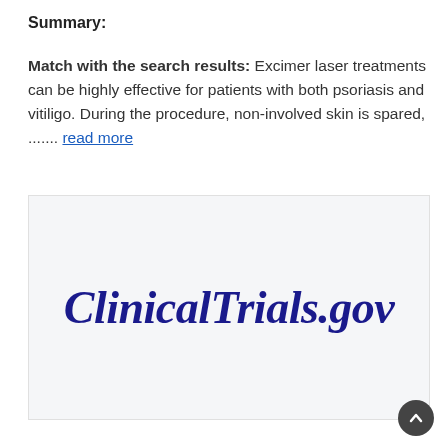Summary:
Match with the search results: Excimer laser treatments can be highly effective for patients with both psoriasis and vitiligo. During the procedure, non-involved skin is spared, ....... read more
[Figure (logo): ClinicalTrials.gov logo in dark navy bold italic serif font on a light grey background]